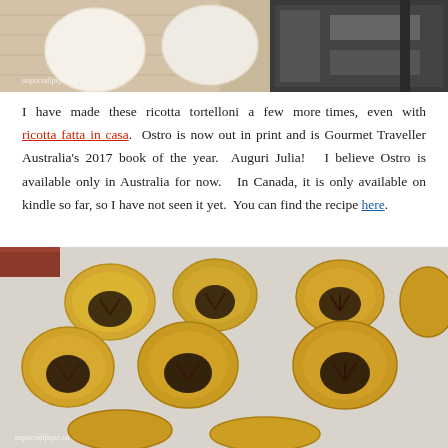[Figure (photo): Top photo showing pasta dough circles laid out on a wooden cutting board next to a pasta machine, with a watermark 'unpocodipepe.ca']
I have made these ricotta tortelloni a few more times, even with ricotta fatta in casa. Ostro is now out in print and is Gourmet Traveller Australia's 2017 book of the year. Auguri Julia! I believe Ostro is available only in Australia for now. In Canada, it is only available on kindle so far, so I have not seen it yet. You can find the recipe here.
[Figure (photo): Bottom photo showing multiple ricotta tortelloni pasta pieces arranged on a floured surface, viewed from above, with a watermark 'unpocodipepe.ca']